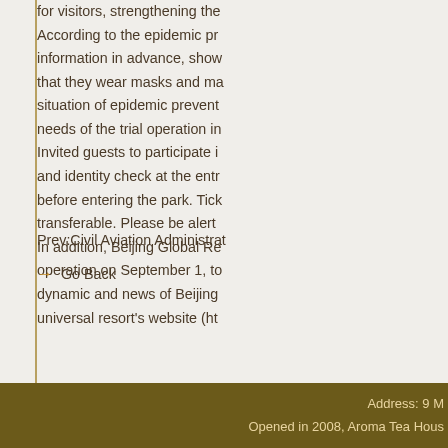for visitors, strengthening the According to the epidemic prevention information in advance, that they wear masks and make situation of epidemic prevention needs of the trial operation in Invited guests to participate in and identity check at the entrance before entering the park. Tickets are not transferable. Please be alert. In addition, Beijing Global Resort operation on September 1, to dynamic and news of Beijing universal resort's website (ht
Prev:Civil Aviation Administration
→ Go Back
Address: 9 M
Opened in 2008, Aroma Tea House